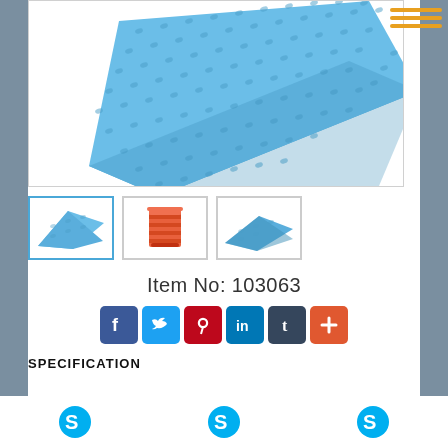[Figure (photo): Main product image: blue foam sleeping/camping mat with textured diamond pattern surface, shown at an angle on white background]
[Figure (photo): Thumbnail 1 (active/selected): Blue foam sleeping mat, top view, blue border]
[Figure (photo): Thumbnail 2: Orange/red folded foam mat stack]
[Figure (photo): Thumbnail 3: Blue foam sleeping mat, side angle view]
Item No: 103063
[Figure (infographic): Social sharing icons: Facebook, Twitter, Pinterest, LinkedIn, Tumblr, and a plus/more button]
SPECIFICATION
[Figure (logo): Three Skype logos in the bottom footer area]